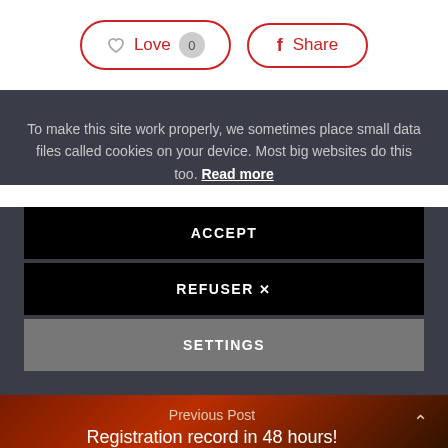[Figure (screenshot): Love button with heart icon and count badge 0, and Share button with Facebook icon, both with red rounded-rectangle outlines]
To make this site work properly, we sometimes place small data files called cookies on your device. Most big websites do this too. Read more
ACCEPT
REFUSER ✗
SETTINGS
Previous Post
Registration record in 48 hours!